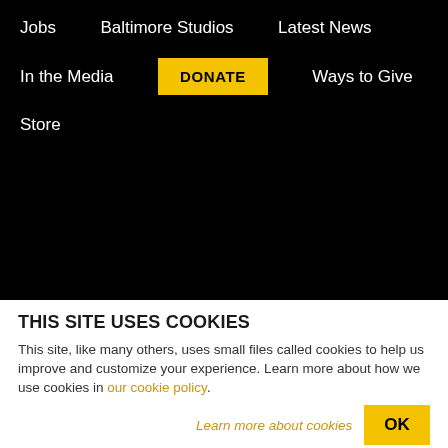Jobs
Baltimore Studios
Latest News
In the Media
DONATE
Ways to Give
Store
THIS SITE USES COOKIES
This site, like many others, uses small files called cookies to help us improve and customize your experience. Learn more about how we use cookies in our cookie policy.
Learn more about cookies   OK